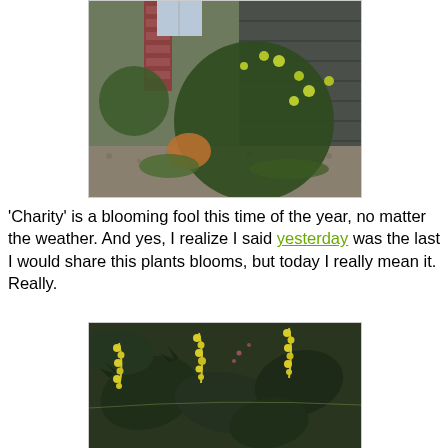[Figure (photo): Photo of a large flowering shrub (Mahonia 'Charity') with yellow-green blooms against a dark gray wood-sided house, with gravel bed and ornamental grasses.]
'Charity' is a blooming fool this time of the year, no matter the weather. And yes, I realize I said yesterday was the last I would share this plants blooms, but today I really mean it. Really.
[Figure (photo): Close-up photo of Mahonia 'Charity' showing dark green spiny leaves and bright yellow flower racemes.]